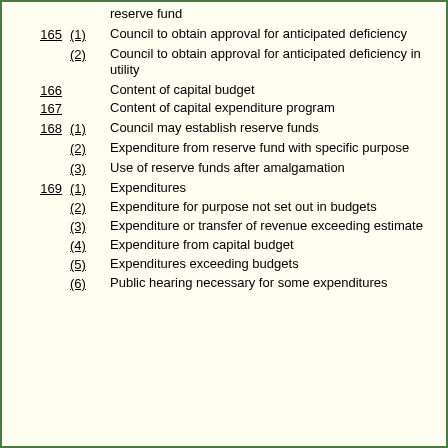reserve fund
165 (1) Council to obtain approval for anticipated deficiency
(2) Council to obtain approval for anticipated deficiency in utility
166 Content of capital budget
167 Content of capital expenditure program
168 (1) Council may establish reserve funds
(2) Expenditure from reserve fund with specific purpose
(3) Use of reserve funds after amalgamation
169 (1) Expenditures
(2) Expenditure for purpose not set out in budgets
(3) Expenditure or transfer of revenue exceeding estimate
(4) Expenditure from capital budget
(5) Expenditures exceeding budgets
(6) Public hearing necessary for some expenditures